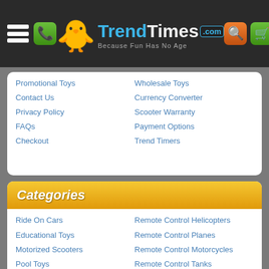TrendTimes.com — Because Fun Has No Age
Promotional Toys
Contact Us
Privacy Policy
FAQs
Checkout
Wholesale Toys
Currency Converter
Scooter Warranty
Payment Options
Trend Timers
Categories
Ride On Cars
Educational Toys
Motorized Scooters
Pool Toys
Remote Control Boats
Remote Control Cars
Remote Control Helicopters
Remote Control Planes
Remote Control Motorcycles
Remote Control Tanks
Science Toys
Other Links
Contact Us
Wholesale Toys